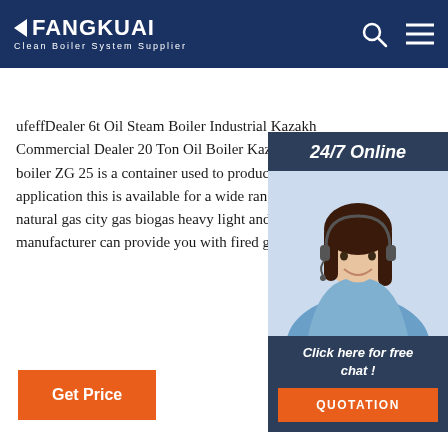FANGKUAI Clean Boiler System Supplier
ufeffDealer 6t Oil Steam Boiler Industrial Kazakhstan Commercial Dealer 20 Ton Oil Boiler Kazakhstan boiler ZG 25 is a container used to produce steam application this is available for a wide range of t natural gas city gas biogas heavy light and vario manufacturer can provide you with fired gas fire
[Figure (photo): 24/7 Online customer service panel with woman wearing headset, 'Click here for free chat!' text and QUOTATION button]
Get Price
[Figure (other): TOP navigation button with orange dots and text]